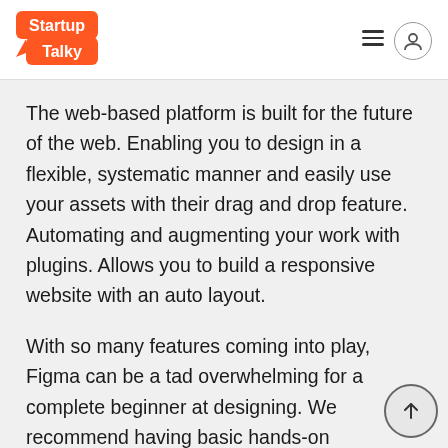StartupTalky
The web-based platform is built for the future of the web. Enabling you to design in a flexible, systematic manner and easily use your assets with their drag and drop feature. Automating and augmenting your work with plugins. Allows you to build a responsive website with an auto layout.
With so many features coming into play, Figma can be a tad overwhelming for a complete beginner at designing. We recommend having basic hands-on experience with some design